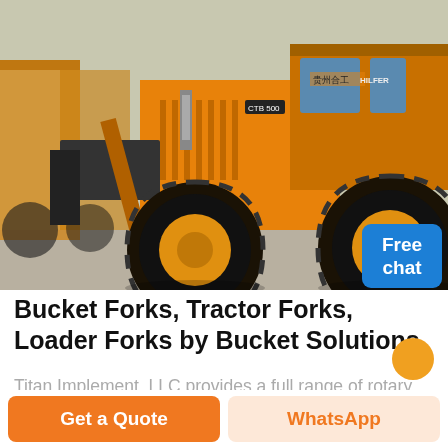[Figure (photo): Yellow wheel loader / front loader machine (CTB model) parked in a lot with several similar machines in the background. Bright yellow color with large black tires.]
Free
chat
Bucket Forks, Tractor Forks, Loader Forks by Bucket Solutions
Titan Implement, LLC provides a full range of rotary cutters, rotary tillers, box blade scrapers, grader blades, landscape rakes, disc harrows, and skid steer attachments. Titan's headquarters and manufacturing
Get a Quote
WhatsApp